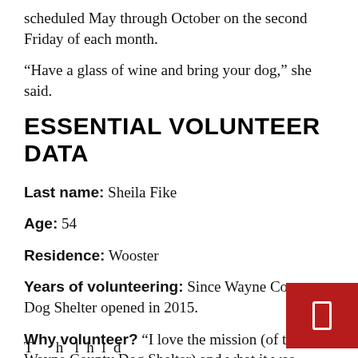scheduled May through October on the second Friday of each month.
“Have a glass of wine and bring your dog,” she said.
ESSENTIAL VOLUNTEER DATA
Last name: Sheila Fike
Age: 54
Residence: Wooster
Years of volunteering: Since Wayne County Dog Shelter opened in 2015.
Why volunteer? “I love the mission (of the Wayne County Dog Shelter) and what it was about, the whole atmosphere